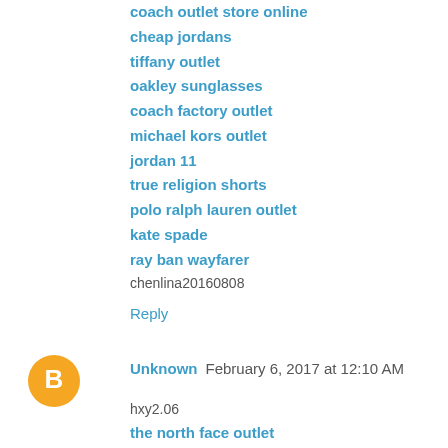coach outlet store online
cheap jordans
tiffany outlet
oakley sunglasses
coach factory outlet
michael kors outlet
jordan 11
true religion shorts
polo ralph lauren outlet
kate spade
ray ban wayfarer
chenlina20160808
Reply
Unknown  February 6, 2017 at 12:10 AM
hxy2.06
the north face outlet
coach outlet online coach factory outlet
tiffany outlet
oakley sunglasses
louis vuitton uk